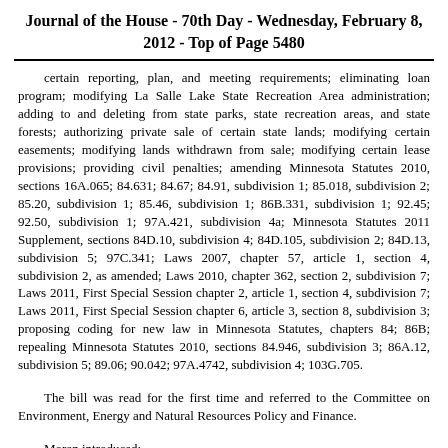Journal of the House - 70th Day - Wednesday, February 8, 2012 - Top of Page 5480
certain reporting, plan, and meeting requirements; eliminating loan program; modifying La Salle Lake State Recreation Area administration; adding to and deleting from state parks, state recreation areas, and state forests; authorizing private sale of certain state lands; modifying certain easements; modifying lands withdrawn from sale; modifying certain lease provisions; providing civil penalties; amending Minnesota Statutes 2010, sections 16A.065; 84.631; 84.67; 84.91, subdivision 1; 85.018, subdivision 2; 85.20, subdivision 1; 85.46, subdivision 1; 86B.331, subdivision 1; 92.45; 92.50, subdivision 1; 97A.421, subdivision 4a; Minnesota Statutes 2011 Supplement, sections 84D.10, subdivision 4; 84D.105, subdivision 2; 84D.13, subdivision 5; 97C.341; Laws 2007, chapter 57, article 1, section 4, subdivision 2, as amended; Laws 2010, chapter 362, section 2, subdivision 7; Laws 2011, First Special Session chapter 2, article 1, section 4, subdivision 7; Laws 2011, First Special Session chapter 6, article 3, section 8, subdivision 3; proposing coding for new law in Minnesota Statutes, chapters 84; 86B; repealing Minnesota Statutes 2010, sections 84.946, subdivision 3; 86A.12, subdivision 5; 89.06; 90.042; 97A.4742, subdivision 4; 103G.705.
The bill was read for the first time and referred to the Committee on Environment, Energy and Natural Resources Policy and Finance.
Moran introduced:
H. F. No. 2154, A bill for an act relating to state government; providing that certain councils do not expire under the Minnesota Sunset Act; amending Minnesota Statutes 2011 Supplement, section 3D.21, subdivisions 1, 2.